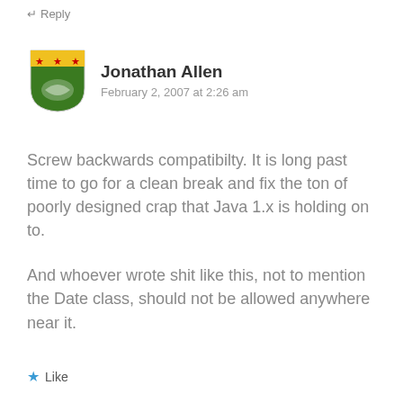↵ Reply
Jonathan Allen
February 2, 2007 at 2:26 am
Screw backwards compatibilty. It is long past time to go for a clean break and fix the ton of poorly designed crap that Java 1.x is holding on to.
And whoever wrote shit like this, not to mention the Date class, should not be allowed anywhere near it.
Like